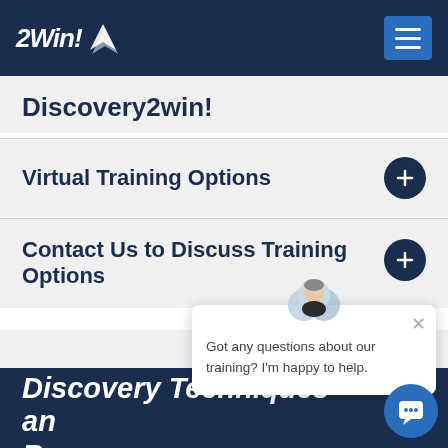2Win!
Discovery2win!
Virtual Training Options
Contact Us to Discuss Training Options
[Figure (screenshot): Chat popup with avatar showing 'Got any questions about our training? I'm happy to help.']
Discovery Techniques and Resources